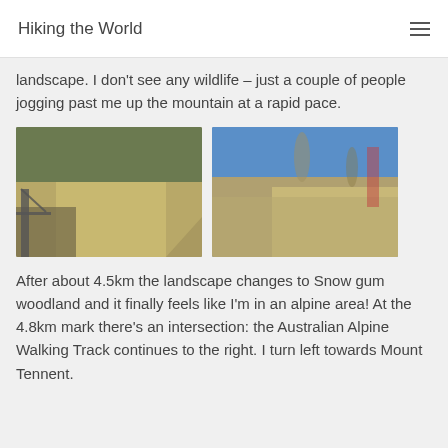Hiking the World
landscape. I don't see any wildlife – just a couple of people jogging past me up the mountain at a rapid pace.
[Figure (photo): Two outdoor/nature photos side by side: left photo shows a wooden bridge/walkway over a rushing stream with forested hillside behind; right photo shows rocky terrain with sparse trees and blue sky.]
After about 4.5km the landscape changes to Snow gum woodland and it finally feels like I'm in an alpine area! At the 4.8km mark there's an intersection: the Australian Alpine Walking Track continues to the right. I turn left towards Mount Tennent.